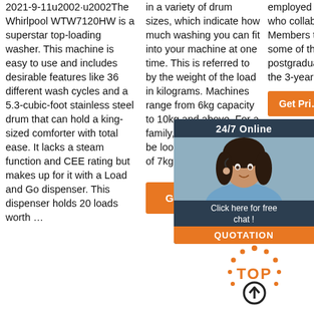2021-9-11u2002·u2002The Whirlpool WTW7120HW is a superstar top-loading washer. This machine is easy to use and includes desirable features like 36 different wash cycles and a 5.3-cubic-foot stainless steel drum that can hold a king-sized comforter with total ease. It lacks a steam function and CEE rating but makes up for it with a Load and Go dispenser. This dispenser holds 20 loads worth …
in a variety of drum sizes, which indicate how much washing you can fit into your machine at one time. This is referred to by the weight of the load in kilograms. Machines range from 6kg capacity to 10kg and above. For a family, you'd most likely be looking at a minimum of 7kg.
[Figure (other): Get Price orange button in column 2]
employed by other institutions who collaborate with IDM Members to the extent that some of their own staff and postgraduate students within the 3-year tenure are rene…
[Figure (other): 24/7 Online chat widget overlay with woman photo, 'Click here for free chat!' text, and orange QUOTATION button]
[Figure (other): Get Price orange button partially visible in column 3]
[Figure (other): TOP arrow circular badge/logo in orange and black at bottom right]